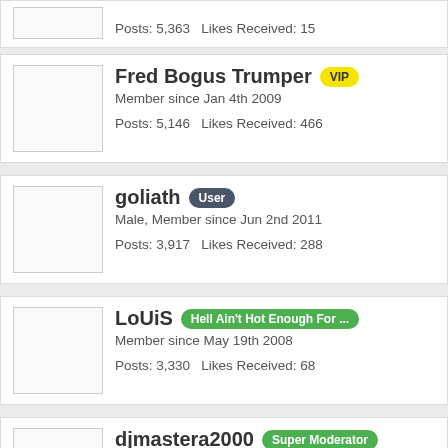Posts: 5,363   Likes Received: 15
Fred Bogus Trumper VIP
Member since Jan 4th 2009
Posts: 5,146   Likes Received: 466
goliath User
Male, Member since Jun 2nd 2011
Posts: 3,917   Likes Received: 288
LoUiS Hell Ain't Hot Enough For ...
Member since May 19th 2008
Posts: 3,330   Likes Received: 68
djmastera2000 Super Moderator
Male, Member since Jun 28th 2009
Posts: 2,994   Likes Received: 63
Schnello VIP
Male, from Österreich, Member since Jul 26th 2012